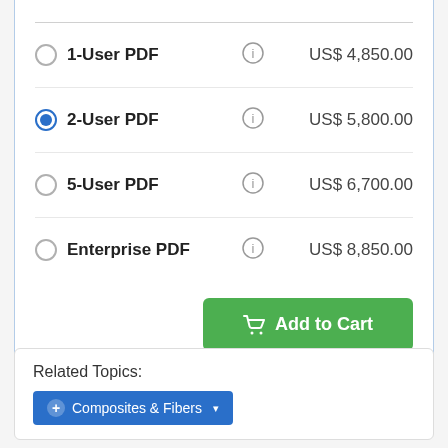1-User PDF   US$ 4,850.00
2-User PDF   US$ 5,800.00
5-User PDF   US$ 6,700.00
Enterprise PDF   US$ 8,850.00
Add to Cart
LOWEST PRICE GUARANTEE
Related Topics:
+ Composites & Fibers ▾